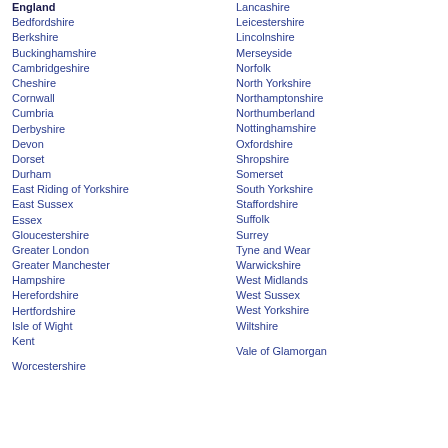England
Bedfordshire
Berkshire
Buckinghamshire
Cambridgeshire
Cheshire
Cornwall
Cumbria
Derbyshire
Devon
Dorset
Durham
East Riding of Yorkshire
East Sussex
Essex
Gloucestershire
Greater London
Greater Manchester
Hampshire
Herefordshire
Hertfordshire
Isle of Wight
Kent
Worcestershire
Lancashire
Leicestershire
Lincolnshire
Merseyside
Norfolk
North Yorkshire
Northamptonshire
Northumberland
Nottinghamshire
Oxfordshire
Shropshire
Somerset
South Yorkshire
Staffordshire
Suffolk
Surrey
Tyne and Wear
Warwickshire
West Midlands
West Sussex
West Yorkshire
Wiltshire
Vale of Glamorgan